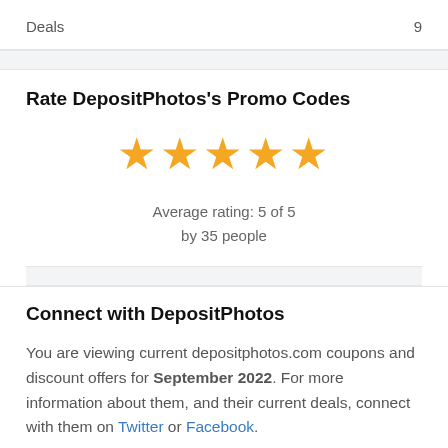Deals   9
Rate DepositPhotos's Promo Codes
[Figure (infographic): Five gold star rating icons displayed in a row]
Average rating: 5 of 5
by 35 people
Connect with DepositPhotos
You are viewing current depositphotos.com coupons and discount offers for September 2022. For more information about them, and their current deals, connect with them on Twitter or Facebook.